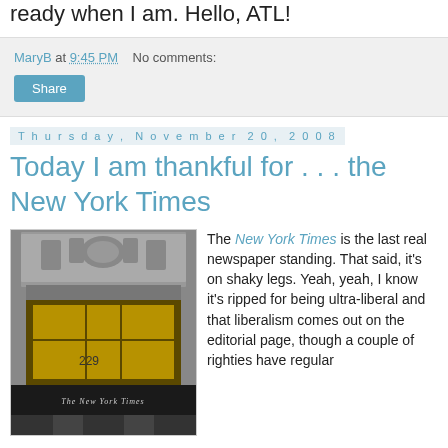ready when I am. Hello, ATL!
MaryB at 9:45 PM   No comments:
Share
Thursday, November 20, 2008
Today I am thankful for . . . the New York Times
[Figure (photo): Exterior facade of the New York Times building showing ornate stonework above entrance, with a window display lit in yellow/gold, and the words 'The New York Times' inscribed at the bottom]
The New York Times is the last real newspaper standing. That said, it's on shaky legs. Yeah, yeah, I know it's ripped for being ultra-liberal and that liberalism comes out on the editorial page, though a couple of righties have regular